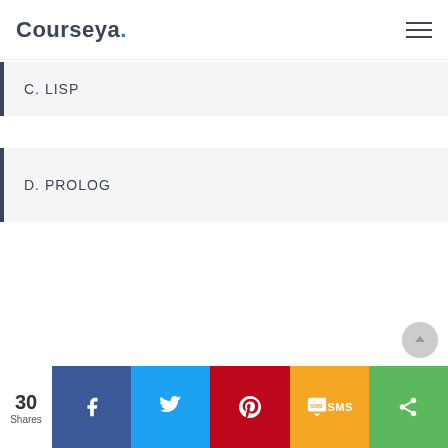Courseya.
C. LISP
D. PROLOG
30 Shares | Facebook | Twitter | Pinterest | SMS | Share